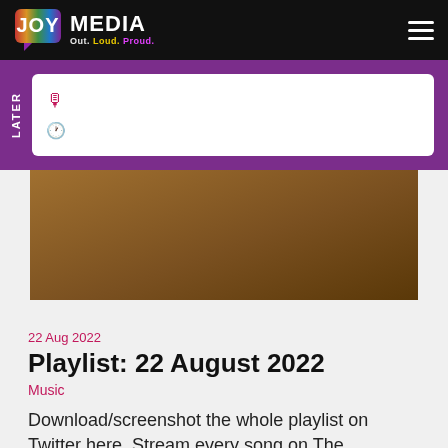JOY MEDIA Out. Loud. Proud.
[Figure (screenshot): Purple bar with LATER tab and search input containing microphone and clock icons]
[Figure (photo): Brown/tan colored image placeholder rectangle]
22 Aug 2022
Playlist: 22 August 2022
Music
Download/screenshot the whole playlist on Twitter here. Stream every song on The